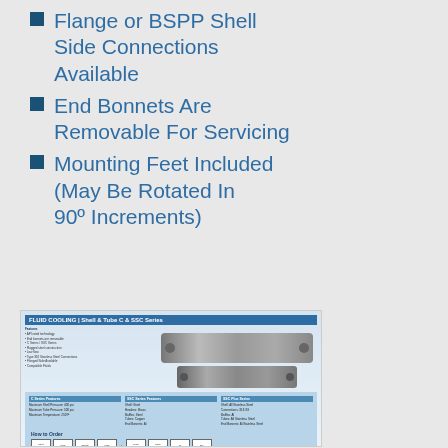Flange or BSPP Shell Side Connections Available
End Bonnets Are Removable For Servicing
Mounting Feet Included (May Be Rotated In 90º Increments)
[Figure (illustration): Product brochure thumbnail showing Shell & Tube C & SSC Series fluid cooling heat exchangers with specifications table and how-to-order section]